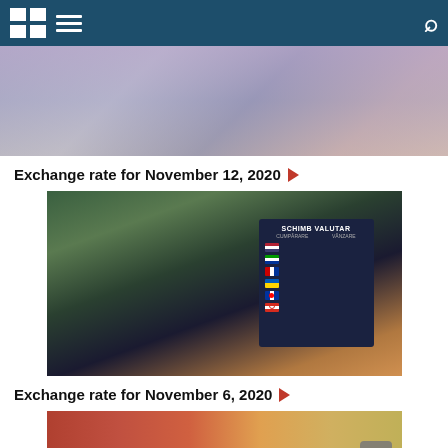Navigation header with logo and search
[Figure (photo): Blurred photo showing what appears to be a screen or document display]
Exchange rate for November 12, 2020 ▶
[Figure (photo): Photo of a currency exchange board (SCHIMB VALUTAR) sign outdoors showing multiple country flags]
Exchange rate for November 6, 2020 ▶
[Figure (photo): Photo of a person in official uniform with coat of arms visible]